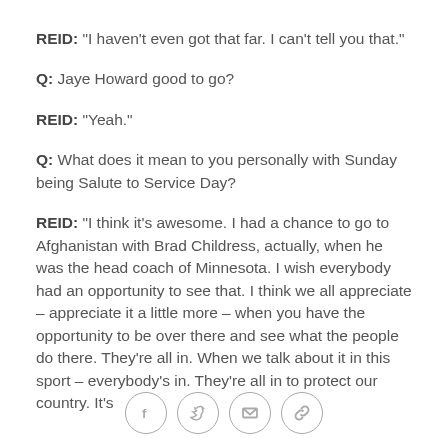REID: "I haven't even got that far. I can't tell you that."
Q: Jaye Howard good to go?
REID: "Yeah."
Q: What does it mean to you personally with Sunday being Salute to Service Day?
REID: "I think it's awesome. I had a chance to go to Afghanistan with Brad Childress, actually, when he was the head coach of Minnesota. I wish everybody had an opportunity to see that. I think we all appreciate – appreciate it a little more – when you have the opportunity to be over there and see what the people do there. They're all in. When we talk about it in this sport – everybody's in. They're all in to protect our country. It's
Social share icons: Facebook, Twitter, Email, Link